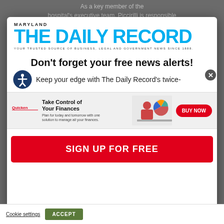As a key member of the hospital's executive team, Piccirilli is responsible
[Figure (logo): Maryland The Daily Record logo with tagline 'Your trusted source of business, legal and government news since 1888.']
Don't forget your free news alerts!
Keep your edge with The Daily Record's twice-
[Figure (infographic): Quicken advertisement banner: Take Control of Your Finances. Plan for today and tomorrow with one solution to manage all your finances. BUY NOW button. Woman at desk with pie chart graphic.]
SIGN UP FOR FREE
Cookie settings   ACCEPT